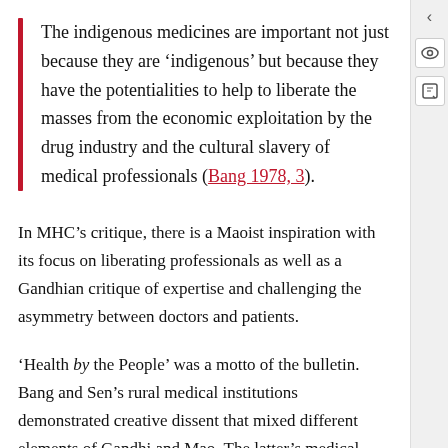The indigenous medicines are important not just because they are ‘indigenous’ but because they have the potentialities to help to liberate the masses from the economic exploitation by the drug industry and the cultural slavery of medical professionals (Bang 1978, 3).
In MHC’s critique, there is a Maoist inspiration with its focus on liberating professionals as well as a Gandhian critique of expertise and challenging the asymmetry between doctors and patients.
‘Health by the People’ was a motto of the bulletin. Bang and Sen’s rural medical institutions demonstrated creative dissent that mixed different elements of Gandhi and Mao. The latter’s medical principles—serving the people, prevention rather than cure, unifying traditional